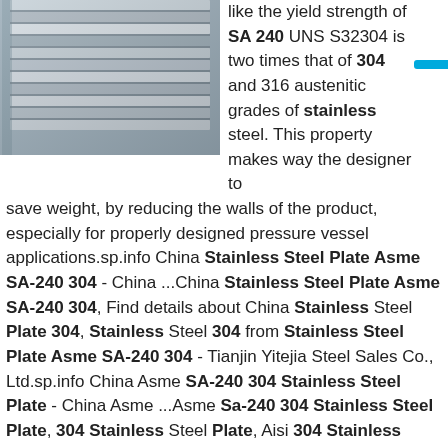[Figure (photo): Stack of stainless steel flat bar/plate materials, multiple layers stacked at an angle, metallic gray tones]
like the yield strength of SA 240 UNS S32304 is two times that of 304 and 316 austenitic grades of stainless steel. This property makes way the designer to save weight, by reducing the walls of the product, especially for properly designed pressure vessel applications.sp.info China Stainless Steel Plate Asme SA-240 304 - China ...China Stainless Steel Plate Asme SA-240 304, Find details about China Stainless Steel Plate 304, Stainless Steel 304 from Stainless Steel Plate Asme SA-240 304 - Tianjin Yitejia Steel Sales Co., Ltd.sp.info China Asme SA-240 304 Stainless Steel Plate - China Asme ...Asme Sa-240 304 Stainless Steel Plate, 304 Stainless Steel Plate, Aisi 304 Stainless Steel Plate manufacturer / supplier in China, offering Asme SA-240 304 Stainless Steel Plate, Stainless Steel Pipe Fittings Food Grade Decorative Stainless Steel Pipe Tube, Thin